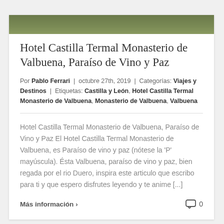[Figure (photo): Top strip of a photo showing green outdoor/garden scenery]
Hotel Castilla Termal Monasterio de Valbuena, Paraíso de Vino y Paz
Por Pablo Ferrari | octubre 27th, 2019 | Categorías: Viajes y Destinos | Etiquetas: Castilla y León, Hotel Castilla Termal Monasterio de Valbuena, Monasterio de Valbuena, Valbuena
Hotel Castilla Termal Monasterio de Valbuena, Paraíso de Vino y Paz El Hotel Castilla Termal Monasterio de Valbuena, es Paraíso de vino y paz (nótese la 'P' mayúscula). Ésta Valbuena, paraíso de vino y paz, bien regada por el rio Duero, inspira este articulo que escribo para ti y que espero disfrutes leyendo y te anime [...]
Más información > 0